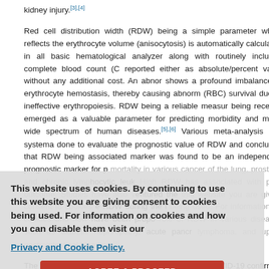kidney injury.[3],[4]
Red cell distribution width (RDW) being a simple parameter which reflects the erythrocyte volume (anisocytosis) is automatically calculated in all basic hematological analyzer along with routinely included complete blood count (CBC) reported either as absolute/percent value without any additional cost. An abnormal RDW shows a profound imbalance of erythrocyte hemostasis, thereby causing abnormal red blood cell (RBC) survival due to ineffective erythropoiesis. RDW being a reliable measure is being recently emerged as a valuable parameter for predicting morbidity and mortality in a wide spectrum of human diseases.[5],[6] Various meta-analysis and systematic reviews done to evaluate the prognostic value of RDW and concluded that RDW being an inflammatory associated marker was found to be an independent prognostic marker for predicting mortality in various cancer of the lung, prostate, and chronic lymphocytic leukemia. High RDW has associated with poor outcome. Studies have also ventured the potential of RDW during the i... [8],[...] have been proposed role of RDW in various diseases such as diabetic nephropathy, acute pancreatitis, lymphoma, and upper gastrointestinal bleeding.[9]
The purpose of this study is to analyze the RDW in COVID-19 confirmed cases into those with mild disease, moderate disease, and severe disease. Our results in expanding the use of RDW in COVID-positive patients as a biomarker.
This website uses cookies. By continuing to use this website you are giving consent to cookies being used. For information on cookies and how you can disable them visit our Privacy and Cookie Policy.
AGREE & PROCEED